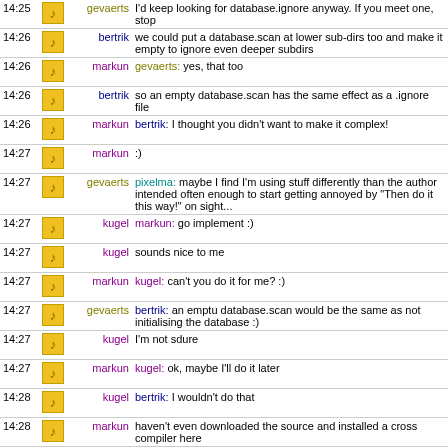| Time | Icon | Nick | Message |
| --- | --- | --- | --- |
| 14:25 |  | gevaerts | I'd keep looking for database.ignore anyway. If you meet one, stop |
| 14:26 |  | bertrik | we could put a database.scan at lower sub-dirs too and make it empty to ignore even deeper subdirs |
| 14:26 |  | markun | gevaerts: yes, that too |
| 14:26 |  | bertrik | so an empty database.scan has the same effect as a .ignore file |
| 14:26 |  | markun | bertrik: I thought you didn't want to make it complex! |
| 14:27 |  | markun | :) |
| 14:27 |  | gevaerts | pixelma: maybe I find I'm using stuff differently than the author intended often enough to start getting annoyed by "Then do it this way!" on sight... |
| 14:27 |  | kugel | markun: go implement :) |
| 14:27 |  | kugel | sounds nice to me |
| 14:27 |  | markun | kugel: can't you do it for me? :) |
| 14:27 |  | gevaerts | bertrik: an emptu database.scan would be the same as not initialising the database :) |
| 14:27 |  | kugel | I'm not sdure |
| 14:27 |  | markun | kugel: ok, maybe I'll do it later |
| 14:28 |  | kugel | bertrik: I wouldn't do that |
| 14:28 |  | markun | haven't even downloaded the source and installed a cross compiler here |
| 14:28 |  | pixelma | having both seems redundant to me (and is probably more complex :\ ) |
| 14:28 |  | bertrik | markun, I think it's very easy, just one file type (database.scan) that can exist at different levels... |